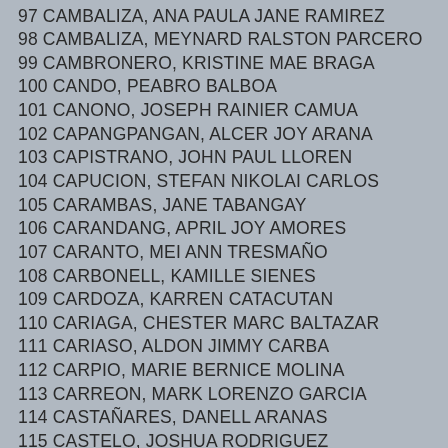97 CAMBALIZA, ANA PAULA JANE RAMIREZ
98 CAMBALIZA, MEYNARD RALSTON PARCERO
99 CAMBRONERO, KRISTINE MAE BRAGA
100 CANDO, PEABRO BALBOA
101 CANONO, JOSEPH RAINIER CAMUA
102 CAPANGPANGAN, ALCER JOY ARANA
103 CAPISTRANO, JOHN PAUL LLOREN
104 CAPUCION, STEFAN NIKOLAI CARLOS
105 CARAMBAS, JANE TABANGAY
106 CARANDANG, APRIL JOY AMORES
107 CARANTO, MEI ANN TRESMAÑO
108 CARBONELL, KAMILLE SIENES
109 CARDOZA, KARREN CATACUTAN
110 CARIAGA, CHESTER MARC BALTAZAR
111 CARIASO, ALDON JIMMY CARBA
112 CARPIO, MARIE BERNICE MOLINA
113 CARREON, MARK LORENZO GARCIA
114 CASTAÑARES, DANELL ARANAS
115 CASTELO, JOSHUA RODRIGUEZ
116 CASTRO, PEARL ABIGAIL JUMANTOC
117 CAVITE, RUEL BAUTISTA
118 CAY, JESSAMYN GARCIA